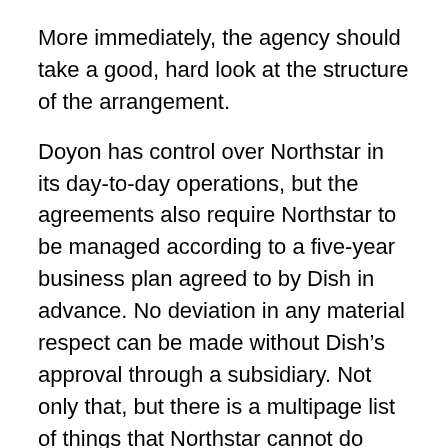More immediately, the agency should take a good, hard look at the structure of the arrangement.
Doyon has control over Northstar in its day-to-day operations, but the agreements also require Northstar to be managed according to a five-year business plan agreed to by Dish in advance. No deviation in any material respect can be made without Dish’s approval through a subsidiary. Not only that, but there is a multipage list of things that Northstar cannot do without approval from Dish’s subsidiary. These restrictions include spending more than $2 million, selling the company or paying any executive more than $200,000.
Given Dish’s significant control and the requirement that Doyon cannot deviate from a previously agreed business plan, Dish is having its discount but still getting effective